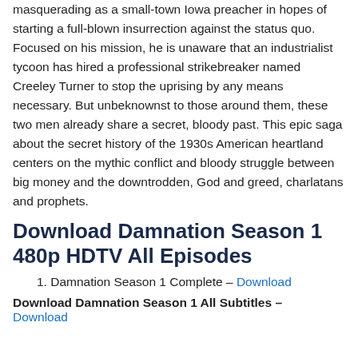masquerading as a small-town Iowa preacher in hopes of starting a full-blown insurrection against the status quo. Focused on his mission, he is unaware that an industrialist tycoon has hired a professional strikebreaker named Creeley Turner to stop the uprising by any means necessary. But unbeknownst to those around them, these two men already share a secret, bloody past. This epic saga about the secret history of the 1930s American heartland centers on the mythic conflict and bloody struggle between big money and the downtrodden, God and greed, charlatans and prophets.
Download Damnation Season 1 480p HDTV All Episodes
1. Damnation Season 1 Complete – Download
Download Damnation Season 1 All Subtitles – Download